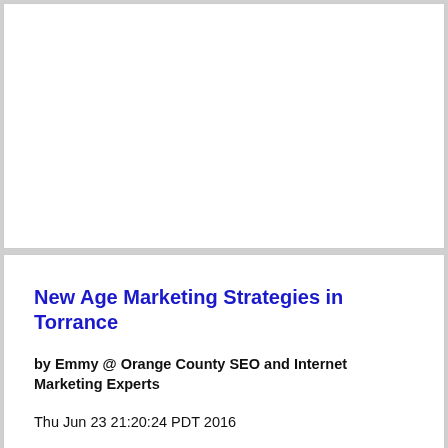New Age Marketing Strategies in Torrance
by Emmy @ Orange County SEO and Internet Marketing Experts
Thu Jun 23 21:20:24 PDT 2016